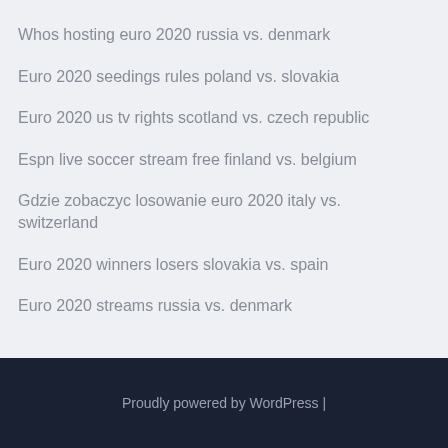Whos hosting euro 2020 russia vs. denmark
Euro 2020 seedings rules poland vs. slovakia
Euro 2020 us tv rights scotland vs. czech republic
Espn live soccer stream free finland vs. belgium
Gdzie zobaczyc losowanie euro 2020 italy vs. switzerland
Euro 2020 winners losers slovakia vs. spain
Euro 2020 streams russia vs. denmark
Proudly powered by WordPress |